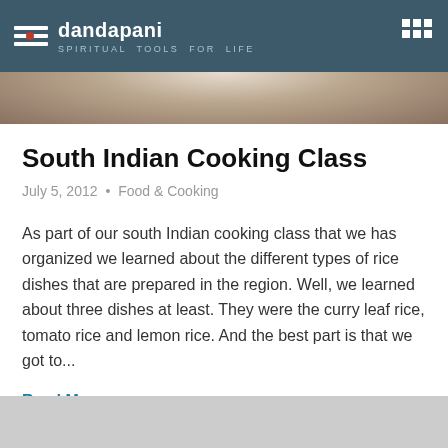dandapani — SPIRITUAL TOOLS FOR LIFE
[Figure (photo): Partial photo of a bowl or cooking vessel, cropped at top]
South Indian Cooking Class
July 5, 2012 • Food & Cooking
As part of our south Indian cooking class that we has organized we learned about the different types of rice dishes that are prepared in the region. Well, we learned about three dishes at least. They were the curry leaf rice, tomato rice and lemon rice. And the best part is that we got to...
Read More >
[Figure (photo): Bottom gray area, partial next image]